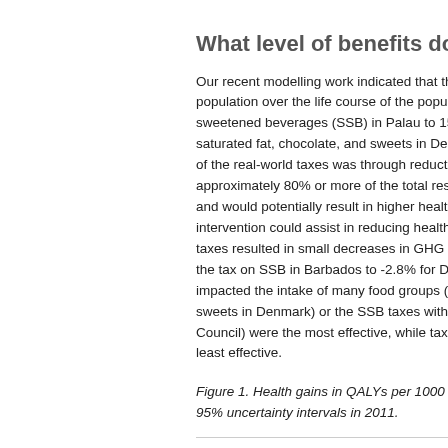What level of benefits does the new
Our recent modelling work indicated that the hea population over the life course of the population sweetened beverages (SSB) in Palau to 150 pe saturated fat, chocolate, and sweets in Denmark of the real-world taxes was through reductions in approximately 80% or more of the total results. A and would potentially result in higher health gain intervention could assist in reducing health inequ taxes resulted in small decreases in GHG emiss the tax on SSB in Barbados to -2.8% for Denma impacted the intake of many food groups (eg, ex sweets in Denmark) or the SSB taxes with the h Council) were the most effective, while taxes tha least effective.
Figure 1. Health gains in QALYs per 1000 popul 95% uncertainty intervals in 2011.